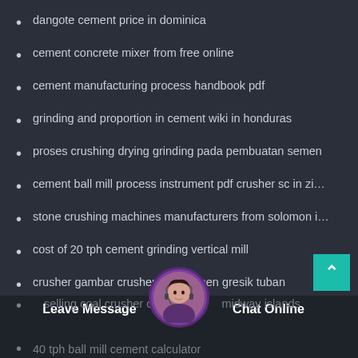dangote cement price in dominica
cement concrete mixer from free online
cement manufacturing process handbook pdf
grinding and proportion in cement wiki in honduras
proses crushing drying grinding pada pembuatan semen
cement ball mill process instrument pdf crusher sc in zi…
stone crushing machines manufacturers from solomon i…
cost of 20 tph cement grinding vertical mill
crusher gambar crusher di pt semen gresik tuban
introduction on feldspar crusher and grinding plant
selling coal crusher con… midway islands
40 tph ball mill cement calculator
[Figure (photo): Customer support avatar - woman with headset]
Leave Message
Chat Online